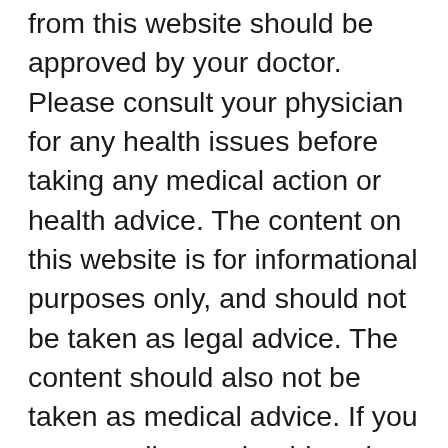from this website should be approved by your doctor. Please consult your physician for any health issues before taking any medical action or health advice. The content on this website is for informational purposes only, and should not be taken as legal advice. The content should also not be taken as medical advice. If you are unwell, you should seek the advice and attention of a doctor. None of the content published herein should substitute medical diagnosis or treatment. The content on this platform has not been evaluated and substantiated by the FDA (Food and Drug Administration). Before you take any of the supplements that we recommend, you should consult a licensed medical professional first. We shall not be liable for any harm or damage that you suffer...